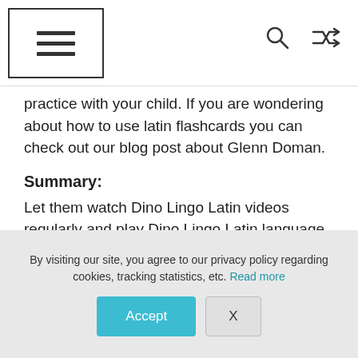[hamburger menu icon] [search icon] [shuffle icon]
practice with your child. If you are wondering about how to use latin flashcards you can check out our blog post about Glenn Doman.
Summary:
Let them watch Dino Lingo Latin videos regularly and play Dino Lingo Latin language online games. Visit places where Latin is spoken such as Latin restaurants, Latin supermarkets, Latin culture centers, Latin temples, Latin schools, Latin community centers. Play with fun educational stuff
By visiting our site, you agree to our privacy policy regarding cookies, tracking statistics, etc. Read more
Accept   X